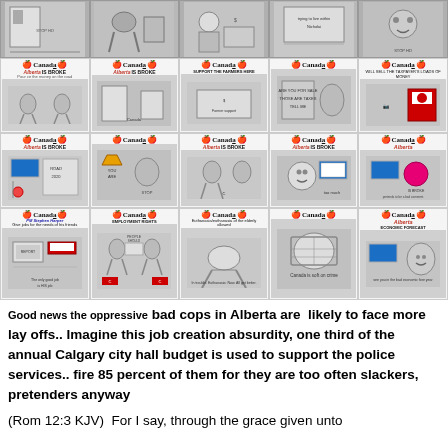[Figure (illustration): Grid of cartoon/editorial images in row 1, approximately 5 small black and white cartoon panels]
[Figure (illustration): Grid of Canada Alberta Is Broke editorial cartoon cards, row 2, 5 panels each with Canada apple logo header and cartoon image]
[Figure (illustration): Grid of Canada Alberta Is Broke editorial cartoon cards, row 3, 5 panels]
[Figure (illustration): Grid of Canada editorial cartoon cards, row 4, 5 panels including topics: PM Stephen Harper gives jobs for friends, employment rights, euthanasia illustration, Canada soft on crime, Alberta economic forecast]
Good news the oppressive bad cops in Alberta are  likely to face more lay offs.. Imagine this job creation absurdity, one third of the annual Calgary city hall budget is used to support the police services.. fire 85 percent of them for they are too often slackers, pretenders anyway
(Rom 12:3 KJV)  For I say, through the grace given unto